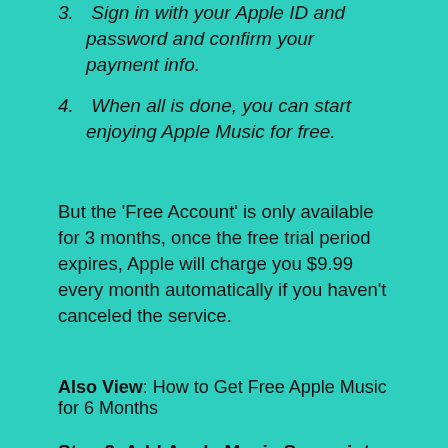3. Sign in with your Apple ID and password and confirm your payment info.
4. When all is done, you can start enjoying Apple Music for free.
But the 'Free Account' is only available for 3 months, once the free trial period expires, Apple will charge you $9.99 every month automatically if you haven't canceled the service.
Also View: How to Get Free Apple Music for 6 Months
Step 2. Add Apple Music Songs into iTunes Library